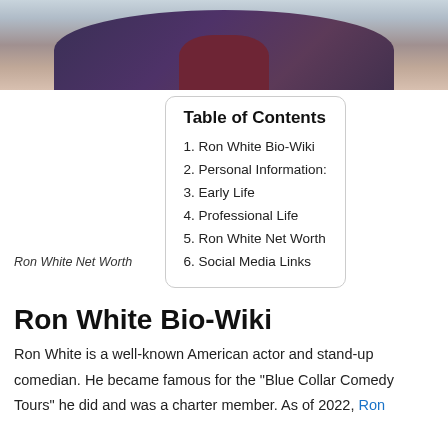[Figure (photo): Cropped photo of Ron White, showing part of his face and upper body in a dark patterned blazer and dark red/maroon shirt]
Ron White Net Worth
| Table of Contents |
| --- |
| 1. Ron White Bio-Wiki |
| 2. Personal Information: |
| 3. Early Life |
| 4. Professional Life |
| 5. Ron White Net Worth |
| 6. Social Media Links |
Ron White Bio-Wiki
Ron White is a well-known American actor and stand-up comedian. He became famous for the "Blue Collar Comedy Tours" he did and was a charter member. As of 2022, Ron